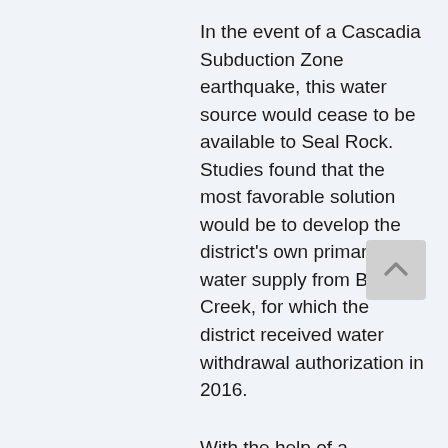In the event of a Cascadia Subduction Zone earthquake, this water source would cease to be available to Seal Rock. Studies found that the most favorable solution would be to develop the district's own primary water supply from Beaver Creek, for which the district received water withdrawal authorization in 2016.
With the help of a $9,096,000 loan and a $2,799,500 grant from USDA's Water and Waste Disposal Program, as well as $3,481,000 from the State of Oregon, the Seal Rock Water District will install submersible pumps in Beaver Creek and construct a plant that uses membrane filtration to treat the water. The treatment plant will be located above